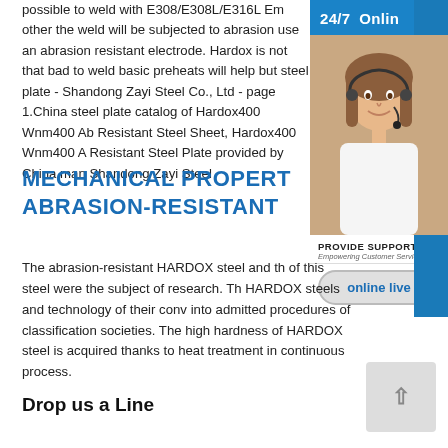possible to weld with E308/E308L/E316L Em other the weld will be subjected to abrasion use an abrasion resistant electrode. Hardox is not that bad to weld basic preheats will help but steel plate - Shandong Zayi Steel Co., Ltd - page 1.China steel plate catalog of Hardox400 Wnm400 Abrasion Resistant Steel Sheet, Hardox400 Wnm400 Abrasion Resistant Steel Plate provided by China manufacturer - Shandong Zayi Steel
[Figure (photo): 24/7 Online customer service chat widget with photo of woman wearing headset, Chinese characters 在线咨询, PROVIDE SUPPORT branding, and online live button]
MECHANICAL PROPERTIES OF ABRASION-RESISTANT
The abrasion-resistant HARDOX steel and the welding properties of this steel were the subject of research. The used HARDOX steels and technology of their constructing were given into admitted procedures of classification societies. The high hardness of HARDOX steel is acquired thanks to heat treatment in continuous process.
Drop us a Line